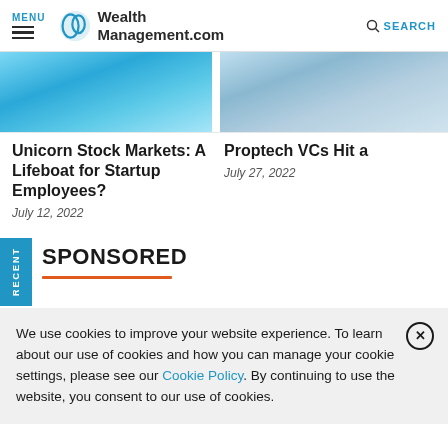MENU | WealthManagement.com | SEARCH
[Figure (photo): Blue water pool surface photo for article thumbnail]
[Figure (photo): Tech/proptech themed bluish image thumbnail]
Unicorn Stock Markets: A Lifeboat for Startup Employees?
July 12, 2022
Proptech VCs Hit a
July 27, 2022
SPONSORED
We use cookies to improve your website experience. To learn about our use of cookies and how you can manage your cookie settings, please see our Cookie Policy. By continuing to use the website, you consent to our use of cookies.